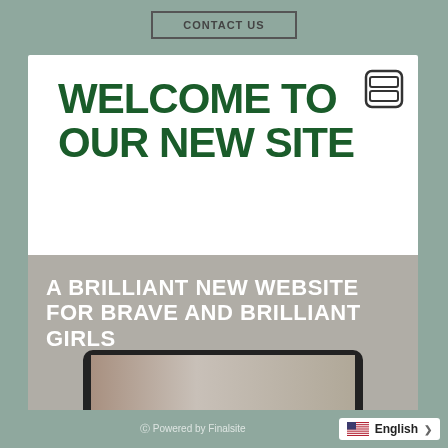CONTACT US
WELCOME TO OUR NEW SITE
[Figure (screenshot): A grey banner showing text 'A BRILLIANT NEW WEBSITE FOR BRAVE AND BRILLIANT GIRLS' with a tablet mockup showing a school website below]
Powered by Finalsite   English >